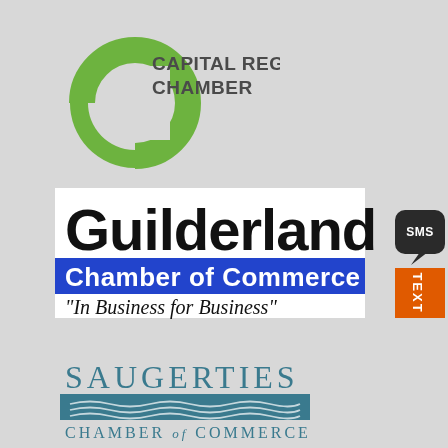[Figure (logo): Capital Region Chamber logo with green C shape and dark gray text reading CAPITAL REGION CHAMBER]
[Figure (logo): Guilderland Chamber of Commerce logo with bold black Guilderland text, blue bar with white Chamber of Commerce text, and italic In Business for Business tagline]
[Figure (logo): SMS TEXT bubble icon in dark gray/black with orange rectangular label reading TEXT]
[Figure (logo): Saugerties Chamber of Commerce logo with teal/blue text SAUGERTIES above a teal rectangle with wave lines, and smaller CHAMBER of COMMERCE text below]